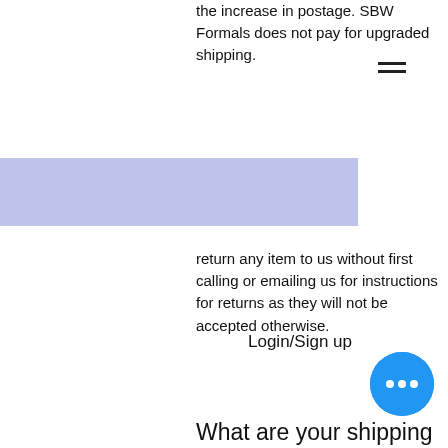the increase in postage. SBW Formals does not pay for upgraded shipping.
[Figure (screenshot): Blue/purple horizontal banner bar overlay, login/sign up overlay text, shopping bag icon with 0 count badge, SBW watermark letters]
return any item to us without first calling or emailing us for instructions for returns as they will not be accepted otherwise.
*Jewelry, customized items, custom made items and dyed to order items are not eligible for returns or exchange unless they are received damaged.
03
[Figure (screenshot): Blue circular chat button with three dots]
What are your shipping